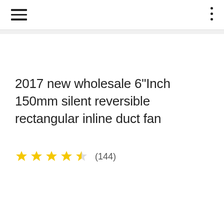Navigation bar with hamburger menu and dots menu
2017 new wholesale 6"Inch 150mm silent reversible rectangular inline duct fan
★★★★½ (144)
Category: Other Ventilation Fans
Supplier: Shenzhen Hongguan Mechatronics Co., Ltd.